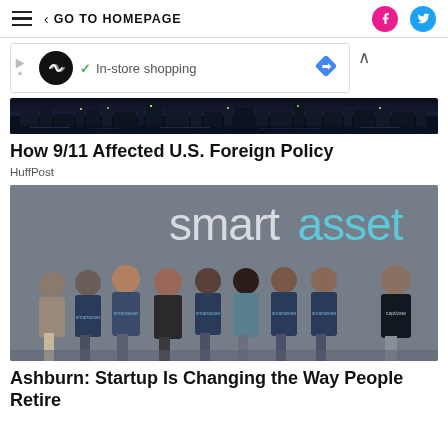≡ < GO TO HOMEPAGE
[Figure (screenshot): Advertisement banner showing a circular logo, checkmark, 'In-store shopping' text, and a blue diamond/navigation icon]
[Figure (photo): City skyline at night — dark silhouette of buildings with lights reflected on water]
How 9/11 Affected U.S. Foreign Policy
HuffPost
[Figure (photo): SmartAsset company team photo — group of about 9 people standing in front of a wall with the 'smartasset' wordmark in white and light blue lettering. People wearing SmartAsset branded t-shirts.]
Ashburn: Startup Is Changing the Way People Retire